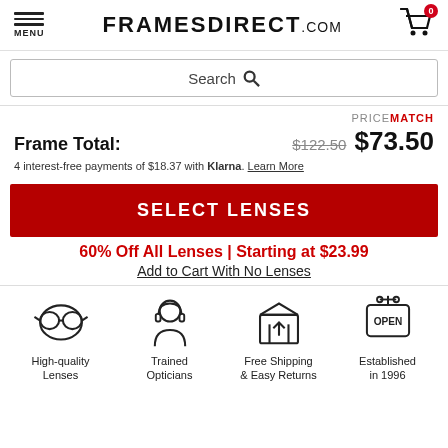MENU | FRAMESDIRECT.COM | Cart 0
Search
PRICEMATCH
Frame Total: $122.50 $73.50
4 interest-free payments of $18.37 with Klarna. Learn More
SELECT LENSES
60% Off All Lenses | Starting at $23.99
Add to Cart With No Lenses
[Figure (illustration): Four icons in a row: High-quality Lenses (glasses icon), Trained Opticians (person with headset icon), Free Shipping & Easy Returns (open box icon), Established in 1996 (open sign icon)]